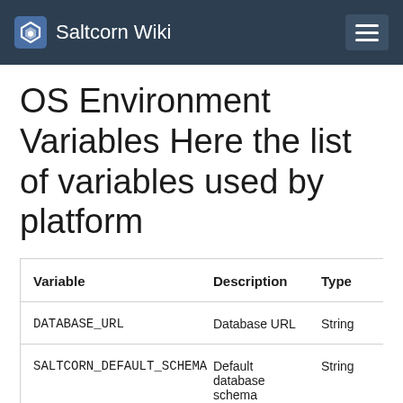Saltcorn Wiki
OS Environment Variables Here the list of variables used by platform
| Variable | Description | Type | Valu… |
| --- | --- | --- | --- |
| DATABASE_URL | Database URL | String |  |
| SALTCORN_DEFAULT_SCHEMA | Default database schema | String |  |
| SALTCORN_DISABLE_UPGRADE | Disable |  |  |